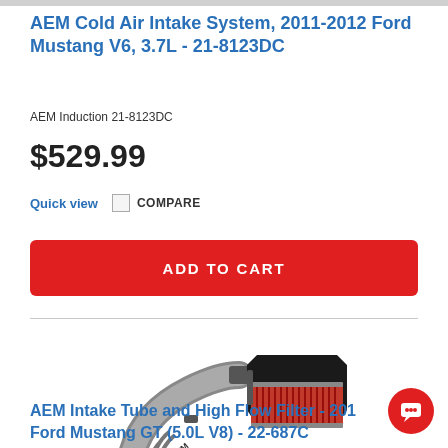AEM Cold Air Intake System, 2011-2012 Ford Mustang V6, 3.7L - 21-8123DC
AEM Induction 21-8123DC
$529.99
Quick view   COMPARE
ADD TO CART
[Figure (photo): AEM Intake Tube and High Flow Filter product photo showing intake pipe and red air filter with black housing]
AEM Intake Tube and High Flow Filter - 201 Ford Mustang GT (5.0L V8) - 22-687C